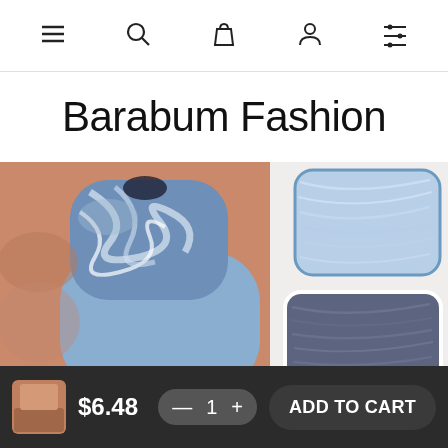Navigation bar with menu, search, cart, account, and filter icons
Barabum Fashion
[Figure (photo): Product photo showing blue nail art with marble swirl design and two metallic nail color palettes (light blue and dark navy) on white background]
$6.48
— 1 +
ADD TO CART